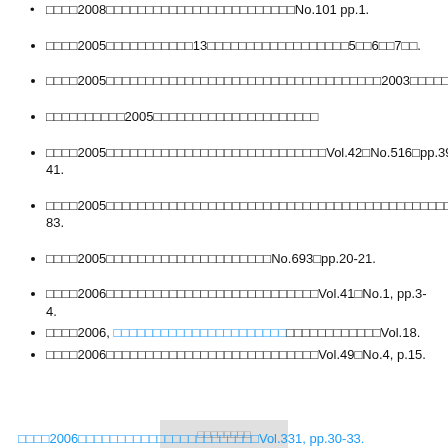□□□□2008□□□□□□□□□□□□□□□□□□□□□□□□No.101 pp.1.
□□□□2005□□□□□□□□□□□13□□□□□□□□□□□□□□□□□□5□□6□□7□□.
□□□□2005□□□□□□□□□□□□□□□□□□□□□□□□□□□□□□□□□□□2003□□□□□□.
□□□□□□□□□□2005□□□□□□□□□□□□□□□□□□□□□
□□□□2005□□□□□□□□□□□□□□□□□□□□□□□□□□□□Vol.42□No.516□pp.39-41.
□□□□2005□□□□□□□□□□□□□□□□□□□□□□□□□□□□□□□□□□□□□□□□□□□□pp.78-83.
□□□□2005□□□□□□□□□□□□□□□□□□□□□No.693□pp.20-21.
□□□□2006□□□□□□□□□□□□□□□□□□□□□□□□□□□Vol.41□No.1, pp.3-4.
□□□□2006, □□□□□□□□□□□□□□□□□□□□□□□□□□□□□□□Vol.18.
□□□□2006□□□□□□□□□□□□□□□□□□□□□□□□□□□Vol.49□No.4, p.15.
□□□□2006□□□□□□□□□□□□□□□□□Vol.331, pp.30-33.